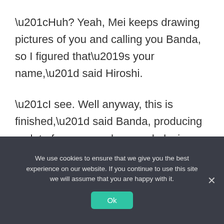“Huh? Yeah, Mei keeps drawing pictures of you and calling you Banda, so I figured that’s your name,” said Hiroshi.
“I see. Well anyway, this is finished,” said Banda, producing a plate from somewhere and placing the pot’s contents on it.
Considering the strange ingredients that had been used to make it, it now resembled a slightly
We use cookies to ensure that we give you the best experience on our website. If you continue to use this site we will assume that you are happy with it.